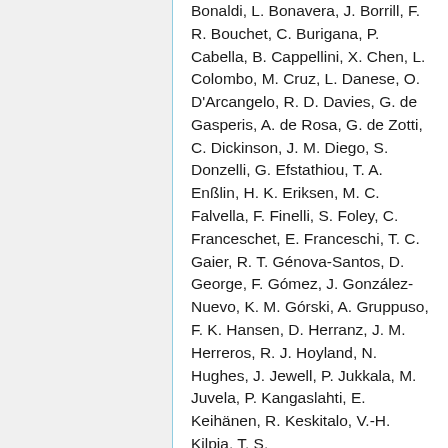Bonaldi, L. Bonavera, J. Borrill, F. R. Bouchet, C. Burigana, P. Cabella, B. Cappellini, X. Chen, L. Colombo, M. Cruz, L. Danese, O. D'Arcangelo, R. D. Davies, G. de Gasperis, A. de Rosa, G. de Zotti, C. Dickinson, J. M. Diego, S. Donzelli, G. Efstathiou, T. A. Enßlin, H. K. Eriksen, M. C. Falvella, F. Finelli, S. Foley, C. Franceschet, E. Franceschi, T. C. Gaier, R. T. Génova-Santos, D. George, F. Gómez, J. González-Nuevo, K. M. Górski, A. Gruppuso, F. K. Hansen, D. Herranz, J. M. Herreros, R. J. Hoyland, N. Hughes, J. Jewell, P. Jukkala, M. Juvela, P. Kangaslahti, E. Keihänen, R. Keskitalo, V.-H. Kilpia, T. S.